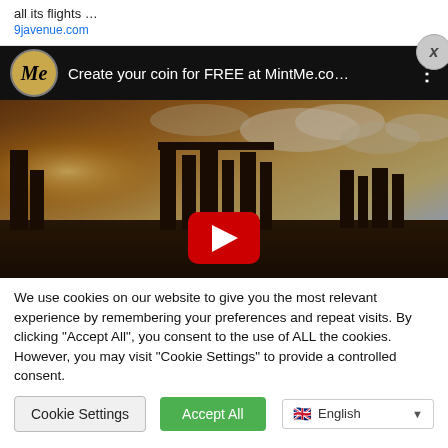all its flights …
9javenue.com
[Figure (screenshot): MintMe advertisement banner on dark background with logo and text: Create your coin for FREE at MintMe.co…]
[Figure (photo): YouTube video thumbnail showing ancient ruins silhouette against dramatic sky with YouTube play button overlay]
We use cookies on our website to give you the most relevant experience by remembering your preferences and repeat visits. By clicking "Accept All", you consent to the use of ALL the cookies. However, you may visit "Cookie Settings" to provide a controlled consent.
Cookie Settings | Accept All | English